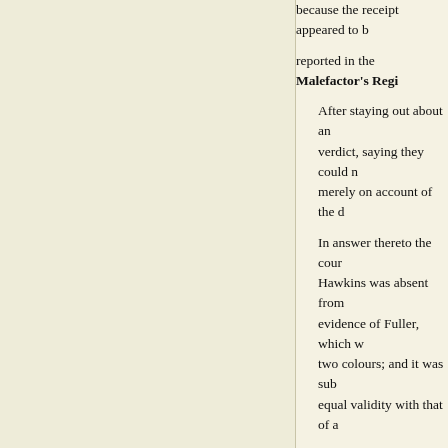because the receipt appeared to b[e…] reported in the Malefactor's Regi[ster…]
After staying out about an[…] verdict, saying they could n[ot…] merely on account of the d[…]
In answer thereto the cour[t…] Hawkins was absent from […] evidence of Fuller, which w[as…] two colours; and it was sub[mitted…] equal validity with that of a[…]
Hereupon the jury went ou[t…] against both the prisoners.
If this account is to be trusted, the[…] Proceedings was positively misle[ading…]
Back to Top  |  Introductory Readin[g…]
Sentencing
Defendants who were convicted o[f…] Court before they were sentenced[…] give any favourable publicity to th[e…] Proceedings. Some convicts con[tinued…]